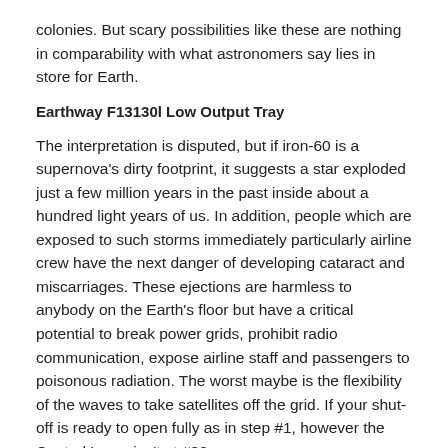colonies. But scary possibilities like these are nothing in comparability with what astronomers say lies in store for Earth.
Earthway F13130l Low Output Tray
The interpretation is disputed, but if iron-60 is a supernova's dirty footprint, it suggests a star exploded just a few million years in the past inside about a hundred light years of us. In addition, people which are exposed to such storms immediately particularly airline crew have the next danger of developing cataract and miscarriages. These ejections are harmless to anybody on the Earth's floor but have a critical potential to break power grids, prohibit radio communication, expose airline staff and passengers to poisonous radiation. The worst maybe is the flexibility of the waves to take satellites off the grid. If your shut-off is ready to open fully as in step #1, however the Control Lever isn't at #30.